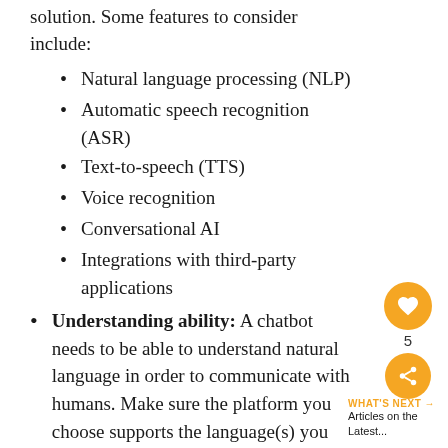solution. Some features to consider include:
Natural language processing (NLP)
Automatic speech recognition (ASR)
Text-to-speech (TTS)
Voice recognition
Conversational AI
Integrations with third-party applications
Understanding ability: A chatbot needs to be able to understand natural language in order to communicate with humans. Make sure the platform you choose supports the language(s) you nee
Deployment options: You need how you want to deploy your chatbot – Do